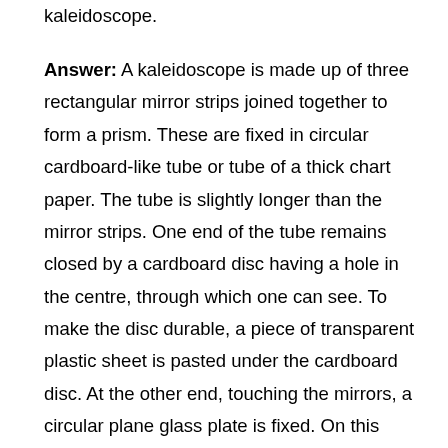kaleidoscope.
Answer: A kaleidoscope is made up of three rectangular mirror strips joined together to form a prism. These are fixed in circular cardboard-like tube or tube of a thick chart paper. The tube is slightly longer than the mirror strips. One end of the tube remains closed by a cardboard disc having a hole in the centre, through which one can see. To make the disc durable, a piece of transparent plastic sheet is pasted under the cardboard disc. At the other end, touching the mirrors, a circular plane glass plate is fixed. On this glass plate, several small pieces of coloured glass are placed to form multiple images.